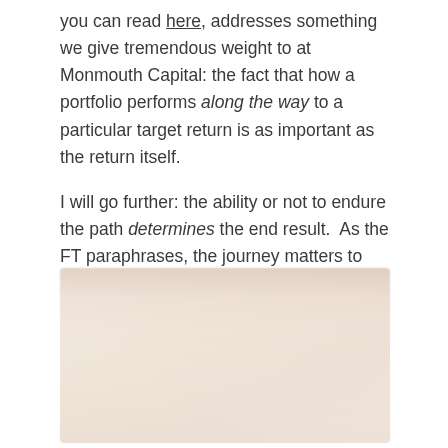you can read here, addresses something we give tremendous weight to at Monmouth Capital: the fact that how a portfolio performs along the way to a particular target return is as important as the return itself.

I will go further: the ability or not to endure the path determines the end result.  As the FT paraphrases, the journey matters to every investor:
[Figure (screenshot): A blurred/redacted screenshot or image block, showing an indistinct peach/cream-toned rectangular content area, likely a chart or article excerpt that has been intentionally obscured.]